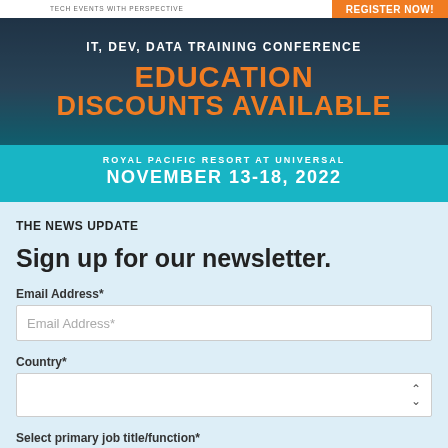[Figure (infographic): Conference advertisement banner for IT, DEV, DATA Training Conference at Royal Pacific Resort at Universal, November 13-18 2022, with Education Discounts Available. Orange REGISTER NOW button in top right. Dark resort background image with teal bottom section.]
THE NEWS UPDATE
Sign up for our newsletter.
Email Address*
Email Address*
Country*
Select primary job title/function*